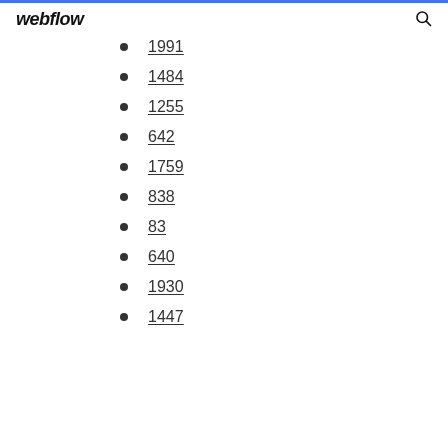webflow
1991
1484
1255
642
1759
838
83
640
1930
1447